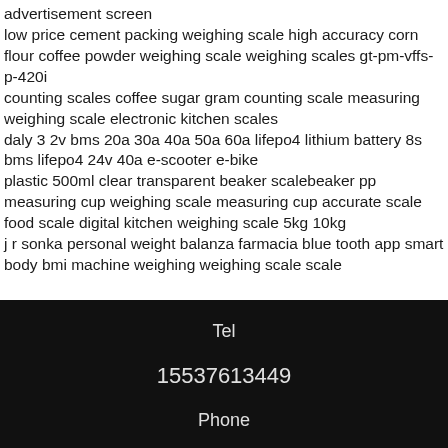advertisement screen
low price cement packing weighing scale high accuracy corn flour coffee powder weighing scale weighing scales gt-pm-vffs-p-420i
counting scales coffee sugar gram counting scale measuring weighing scale electronic kitchen scales
daly 3 2v bms 20a 30a 40a 50a 60a lifepo4 lithium battery 8s bms lifepo4 24v 40a e-scooter e-bike
plastic 500ml clear transparent beaker scalebeaker pp measuring cup weighing scale measuring cup accurate scale food scale digital kitchen weighing scale 5kg 10kg
j r sonka personal weight balanza farmacia blue tooth app smart body bmi machine weighing weighing scale scale
Tel
15537613449
Phone